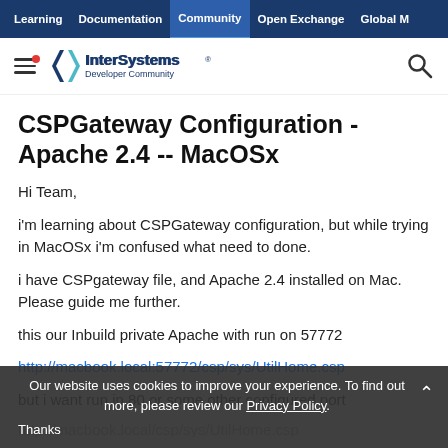Learning | Documentation | Community | Open Exchange | Global M
[Figure (logo): InterSystems Developer Community logo with hamburger menu and search icon]
CSPGateway Configuration - Apache 2.4 -- MacOSx
Hi Team,
i'm learning about CSPGateway configuration, but while trying in MacOSx i'm confused what need to done.
i have CSPgateway file, and Apache 2.4 installed on Mac. Please guide me further.
this our Inbuild private Apache with run on 57772
http://macbook.local:57772/csp/sys/UtilHome.csp
but i want run in 80 or some other configured port
Our website uses cookies to improve your experience. To find out more, please review our Privacy Policy.
Thanks